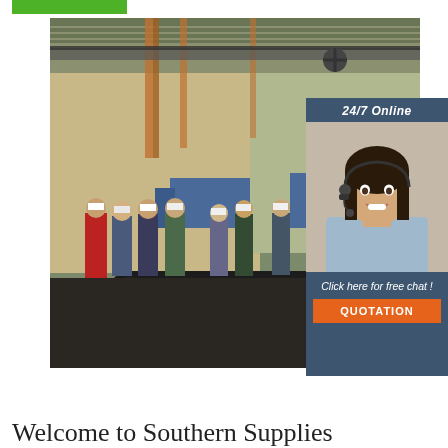[Figure (photo): Green navigation bar at top of webpage]
[Figure (photo): Factory/industrial warehouse scene showing workers in hard hats standing near large steel pipes and heavy machinery inside a large covered facility. Overhead crane and structural steel visible.]
[Figure (infographic): Overlay chat widget box with dark blue-grey background showing '24/7 Online' text, photo of a smiling woman with headset, 'Click here for free chat!' text, and an orange QUOTATION button.]
Welcome to Southern Supplies